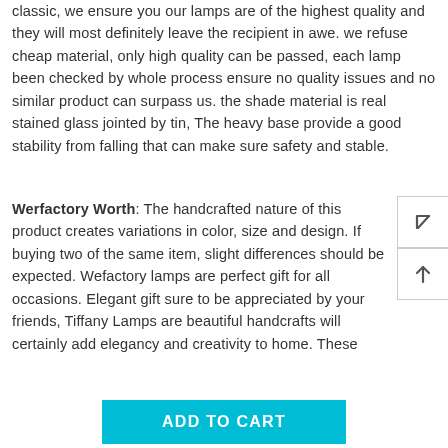classic, we ensure you our lamps are of the highest quality and they will most definitely leave the recipient in awe. we refuse cheap material, only high quality can be passed, each lamp been checked by whole process ensure no quality issues and no similar product can surpass us. the shade material is real stained glass jointed by tin, The heavy base provide a good stability from falling that can make sure safety and stable.
Werfactory Worth: The handcrafted nature of this product creates variations in color, size and design. If buying two of the same item, slight differences should be expected. Wefactory lamps are perfect gift for all occasions. Elegant gift sure to be appreciated by your friends, Tiffany Lamps are beautiful handcrafts will certainly add elegancy and creativity to home. These
ADD TO CART